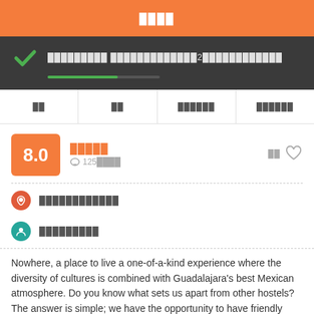████
█████████ █████████████2████████████
██
██
██████
██████
8.0
█████
125████
████ ██████████
██████████
█████████
Nowhere, a place to live a one-of-a-kind experience where the diversity of cultures is combined with Guadalajara's best Mexican atmosphere. Do you know what sets us apart from other hostels? The answer is simple; we have the opportunity to have friendly locals living in Nowhere who share their experiences with all travelers who visit us, growing their knowledge about our culture, besides we're in the heart